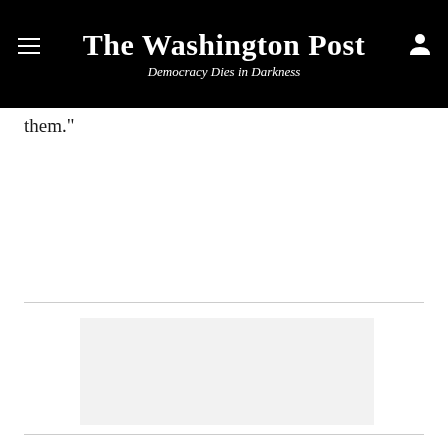The Washington Post — Democracy Dies in Darkness
them."
[Figure (other): Advertisement or placeholder image block with light gray background]